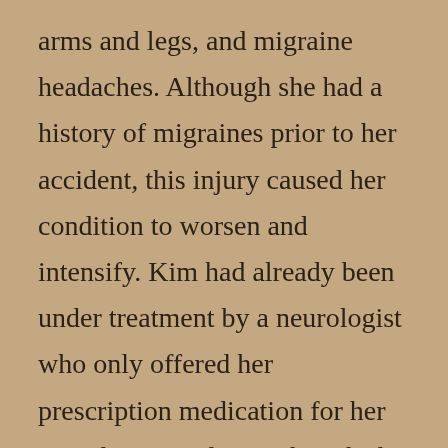arms and legs, and migraine headaches. Although she had a history of migraines prior to her accident, this injury caused her condition to worsen and intensify. Kim had already been under treatment by a neurologist who only offered her prescription medication for her complaints, and even though she continued to take these drugs, “they never helped.” Although Kim wasn’t sure that chiropractic would help her, her problems were just not getting better and she was willing to try anything. Since coming to